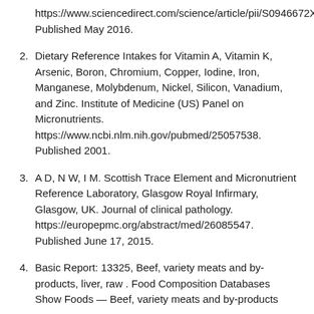https://www.sciencedirect.com/science/article/pii/S0946672X16300207. Published May 2016.
2. Dietary Reference Intakes for Vitamin A, Vitamin K, Arsenic, Boron, Chromium, Copper, Iodine, Iron, Manganese, Molybdenum, Nickel, Silicon, Vanadium, and Zinc. Institute of Medicine (US) Panel on Micronutrients. https://www.ncbi.nlm.nih.gov/pubmed/25057538. Published 2001.
3. A D, N W, I M. Scottish Trace Element and Micronutrient Reference Laboratory, Glasgow Royal Infirmary, Glasgow, UK. Journal of clinical pathology. https://europepmc.org/abstract/med/26085547. Published June 17, 2015.
4. Basic Report: 13325, Beef, variety meats and by-products, liver, raw . Food Composition Databases Show Foods — Beef, variety meats and by-products